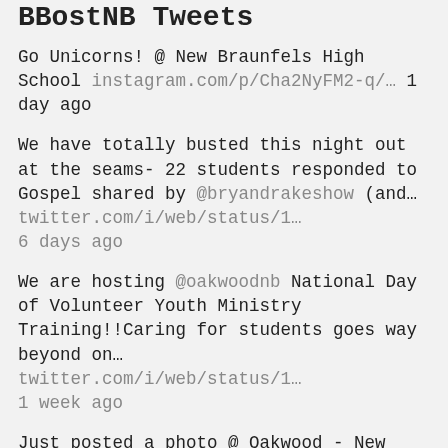BBostNB Tweets
Go Unicorns! @ New Braunfels High School instagram.com/p/Cha2NyFM2-q/… 1 day ago
We have totally busted this night out at the seams- 22 students responded to Gospel shared by @bryandrakeshow (and… twitter.com/i/web/status/1… 6 days ago
We are hosting @oakwoodnb National Day of Volunteer Youth Ministry Training!!Caring for students goes way beyond on… twitter.com/i/web/status/1… 1 week ago
Just posted a photo @ Oakwood - New